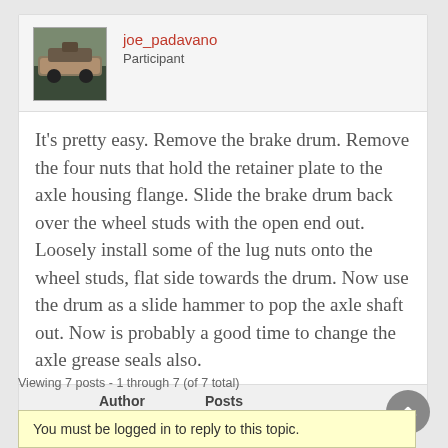joe_padavano
Participant
It's pretty easy. Remove the brake drum. Remove the four nuts that hold the retainer plate to the axle housing flange. Slide the brake drum back over the wheel studs with the open end out. Loosely install some of the lug nuts onto the wheel studs, flat side towards the drum. Now use the drum as a slide hammer to pop the axle shaft out. Now is probably a good time to change the axle grease seals also.
Author   Posts
Viewing 7 posts - 1 through 7 (of 7 total)
You must be logged in to reply to this topic.